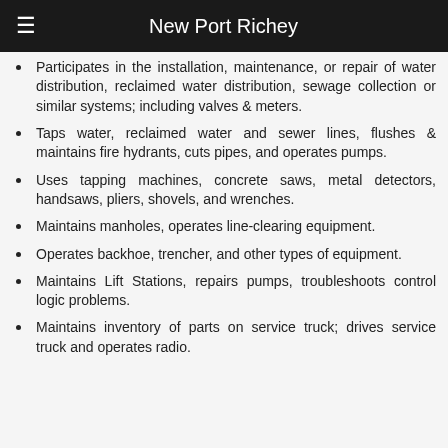New Port Richey
Participates in the installation, maintenance, or repair of water distribution, reclaimed water distribution, sewage collection or similar systems; including valves & meters.
Taps water, reclaimed water and sewer lines, flushes & maintains fire hydrants, cuts pipes, and operates pumps.
Uses tapping machines, concrete saws, metal detectors, handsaws, pliers, shovels, and wrenches.
Maintains manholes, operates line-clearing equipment.
Operates backhoe, trencher, and other types of equipment.
Maintains Lift Stations, repairs pumps, troubleshoots control logic problems.
Maintains inventory of parts on service truck; drives service truck and operates radio.